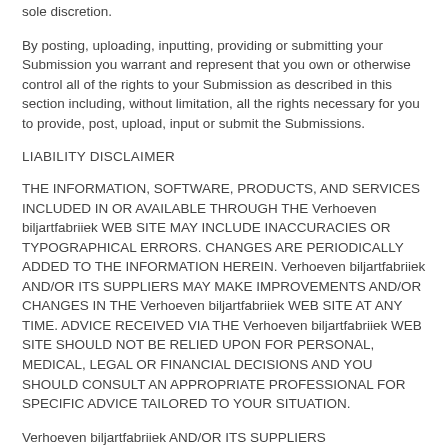sole discretion.
By posting, uploading, inputting, providing or submitting your Submission you warrant and represent that you own or otherwise control all of the rights to your Submission as described in this section including, without limitation, all the rights necessary for you to provide, post, upload, input or submit the Submissions.
LIABILITY DISCLAIMER
THE INFORMATION, SOFTWARE, PRODUCTS, AND SERVICES INCLUDED IN OR AVAILABLE THROUGH THE Verhoeven biljartfabriiek WEB SITE MAY INCLUDE INACCURACIES OR TYPOGRAPHICAL ERRORS. CHANGES ARE PERIODICALLY ADDED TO THE INFORMATION HEREIN. Verhoeven biljartfabriiek AND/OR ITS SUPPLIERS MAY MAKE IMPROVEMENTS AND/OR CHANGES IN THE Verhoeven biljartfabriiek WEB SITE AT ANY TIME. ADVICE RECEIVED VIA THE Verhoeven biljartfabriiek WEB SITE SHOULD NOT BE RELIED UPON FOR PERSONAL, MEDICAL, LEGAL OR FINANCIAL DECISIONS AND YOU SHOULD CONSULT AN APPROPRIATE PROFESSIONAL FOR SPECIFIC ADVICE TAILORED TO YOUR SITUATION.
Verhoeven biljartfabriiek AND/OR ITS SUPPLIERS